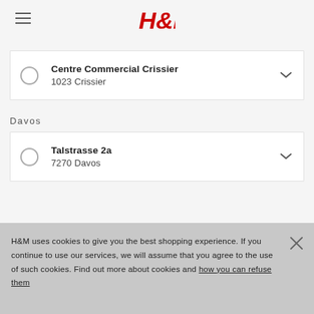H&M
Centre Commercial Crissier
1023 Crissier
Davos
Talstrasse 2a
7270 Davos
H&M uses cookies to give you the best shopping experience. If you continue to use our services, we will assume that you agree to the use of such cookies. Find out more about cookies and how you can refuse them